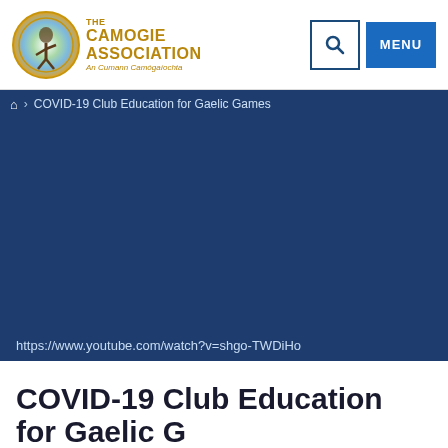[Figure (logo): The Camogie Association logo with circular emblem and text 'THE CAMOGIE ASSOCIATION An Cumann Camógaíochta' in gold]
COVID-19 Club Education for Gaelic Games
[Figure (screenshot): Dark blue hero image area for embedded YouTube video]
https://www.youtube.com/watch?v=shgo-TWDiHo
COVID-19 Club Education for Gaelic Games